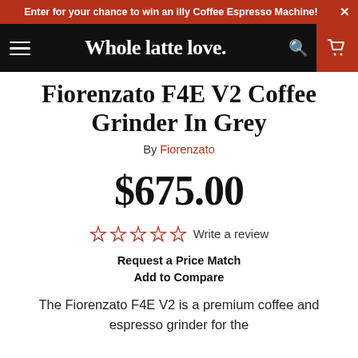Enter for your chance to win an illy Coffee Espresso Machine!
Whole latte love.
Fiorenzato F4E V2 Coffee Grinder In Grey
By Fiorenzato
$675.00
[Figure (other): Five empty star rating icons (0 out of 5 stars) followed by 'Write a review' link]
Request a Price Match
Add to Compare
The Fiorenzato F4E V2 is a premium coffee and espresso grinder for the